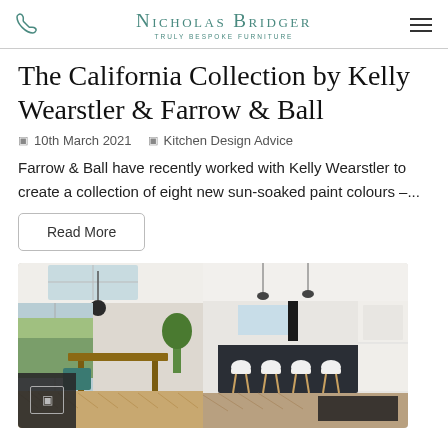Nicholas Bridger – Truly Bespoke Furniture
The California Collection by Kelly Wearstler & Farrow & Ball
10th March 2021   Kitchen Design Advice
Farrow & Ball have recently worked with Kelly Wearstler to create a collection of eight new sun-soaked paint colours –...
Read More
[Figure (photo): Open-plan modern kitchen with white cabinetry, black island with white bar stools, herringbone wood flooring, and a dining area with large windows overlooking a garden.]